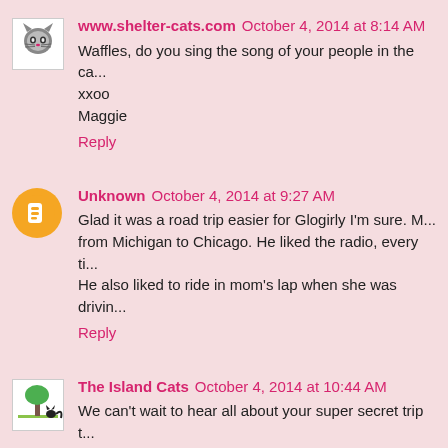www.shelter-cats.com October 4, 2014 at 8:14 AM
Waffles, do you sing the song of your people in the ca...
xxoo
Maggie
Reply
Unknown October 4, 2014 at 9:27 AM
Glad it was a road trip easier for Glogirly I'm sure. M... from Michigan to Chicago. He liked the radio, every ti... He also liked to ride in mom's lap when she was drivin...
Reply
The Island Cats October 4, 2014 at 10:44 AM
We can't wait to hear all about your super secret trip t...
Reply
The Swiss Cats October 4, 2014 at 12:32 PM